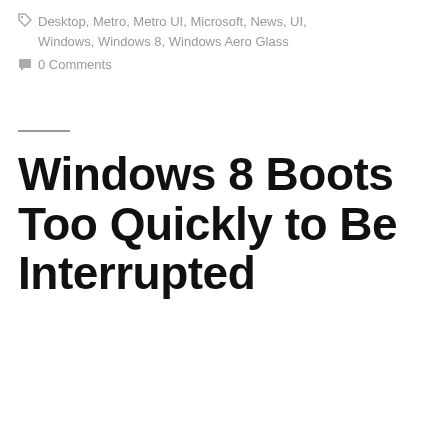Desktop, Metro, Metro UI, Microsoft, News, UI, Windows, Windows 8, Windows Aero Glass
0 Comments
Windows 8 Boots Too Quickly to Be Interrupted